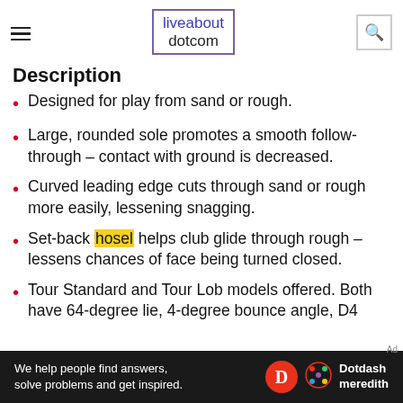liveabout dotcom
Description
Designed for play from sand or rough.
Large, rounded sole promotes a smooth follow-through – contact with ground is decreased.
Curved leading edge cuts through sand or rough more easily, lessening snagging.
Set-back hosel helps club glide through rough – lessens chances of face being turned closed.
Tour Standard and Tour Lob models offered. Both have 64-degree lie, 4-degree bounce angle, D4
[Figure (infographic): Dotdash Meredith ad banner: 'We help people find answers, solve problems and get inspired.' with D logo and Dotdash meredith branding.]